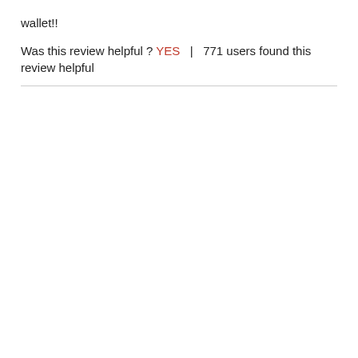wallet!!
Was this review helpful ? YES  |  771 users found this review helpful